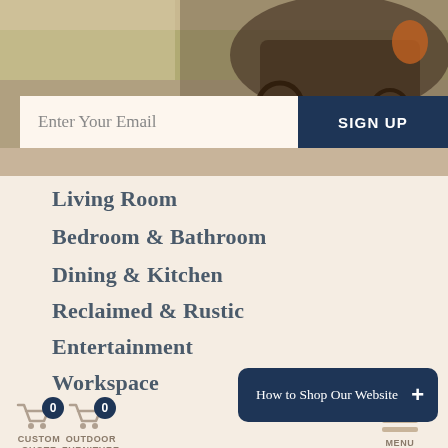[Figure (photo): Hero image of an Amish horse-drawn buggy on a country road with green fields in background]
Enter Your Email
SIGN UP
Living Room
Bedroom & Bathroom
Dining & Kitchen
Reclaimed & Rustic
Entertainment
Workspace
Outdoor
In-Stock
How to Shop Our Website
CUSTOM QUOTE
OUTDOOR FURNITURE
MENU